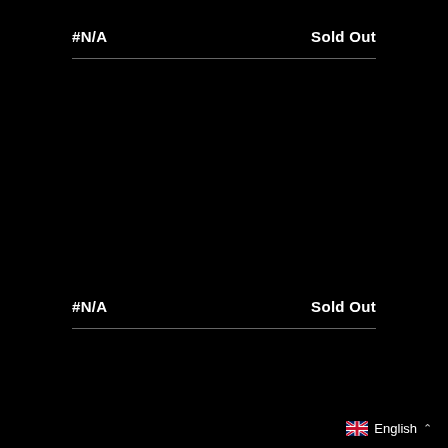#N/A    Sold Out
#N/A    Sold Out
English